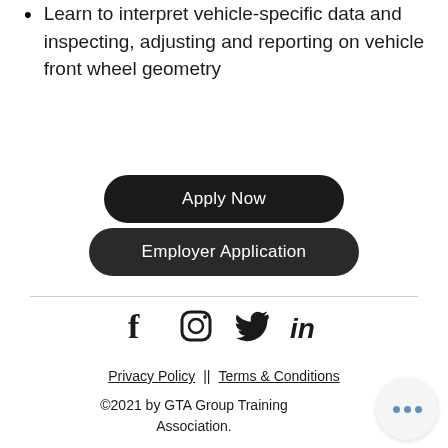Learn to interpret vehicle-specific data and inspecting, adjusting and reporting on vehicle front wheel geometry
Apply Now
Employer Application
[Figure (other): Social media icons: Facebook, Instagram, Twitter, LinkedIn]
Privacy Policy || Terms & Conditions
©2021 by GTA Group Training Association.